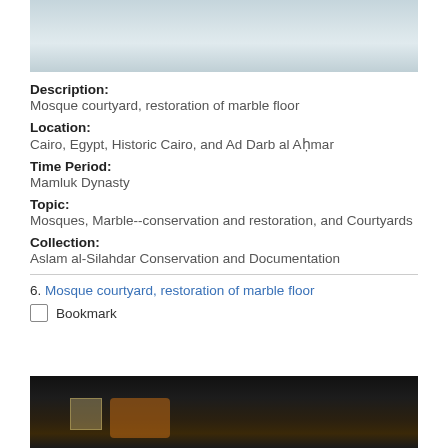[Figure (photo): Top portion of a photo showing a marble floor surface, partially visible, light gray/blue tones]
Description:
Mosque courtyard, restoration of marble floor
Location:
Cairo, Egypt, Historic Cairo, and Ad Darb al Aḥmar
Time Period:
Mamluk Dynasty
Topic:
Mosques, Marble--conservation and restoration, and Courtyards
Collection:
Aslam al-Silahdar Conservation and Documentation
6. Mosque courtyard, restoration of marble floor
Bookmark
[Figure (photo): Bottom portion of a photo showing a dark interior scene with equipment, orange/warm lighting visible]